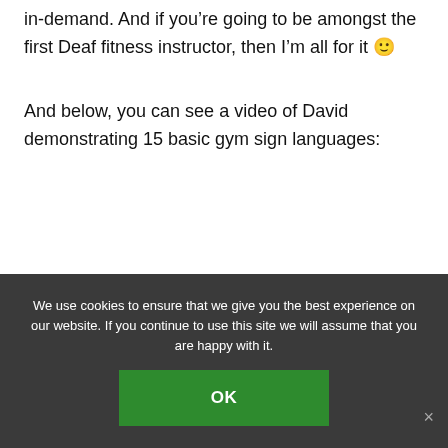in-demand. And if you’re going to be amongst the first Deaf fitness instructor, then I’m all for it 🙂
And below, you can see a video of David demonstrating 15 basic gym sign languages:
We use cookies to ensure that we give you the best experience on our website. If you continue to use this site we will assume that you are happy with it. OK ×